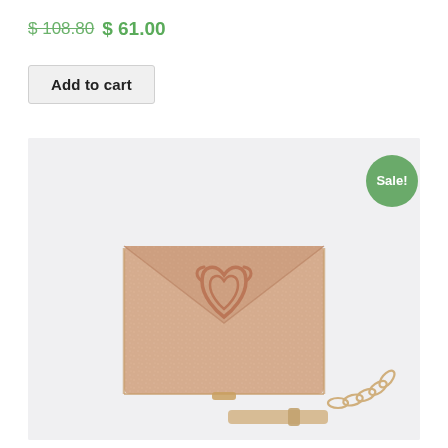$ 108.80 $ 61.00
Add to cart
[Figure (photo): Rose gold glitter envelope clutch bag with decorative logo clasp and chain strap, displayed on light gray background with a Sale! badge in green circle]
Sale!